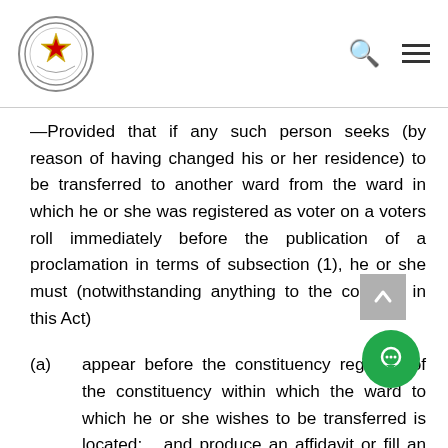Parliament of Zimbabwe logo, search icon, hamburger menu
—Provided that if any such person seeks (by reason of having changed his or her residence) to be transferred to another ward from the ward in which he or she was registered as voter on a voters roll immediately before the publication of a proclamation in terms of subsection (1), he or she must (notwithstanding anything to the contrary in this Act)
(a)    appear before the constituency registrar of the constituency within which the ward to which he or she wishes to be transferred is located;   and produce an affidavit or fill an application in the prescribed form deposing to the following facts, namely that he or